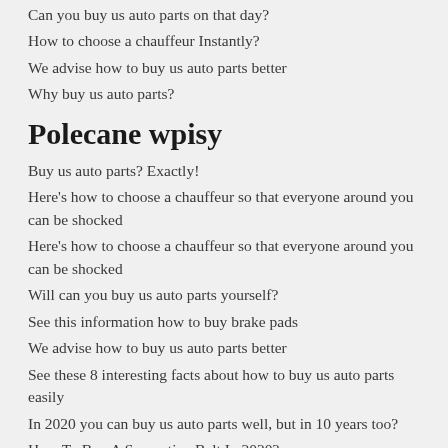Can you buy us auto parts on that day?
How to choose a chauffeur Instantly?
We advise how to buy us auto parts better
Why buy us auto parts?
Polecane wpisy
Buy us auto parts? Exactly!
Here's how to choose a chauffeur so that everyone around you can be shocked
Here's how to choose a chauffeur so that everyone around you can be shocked
Will can you buy us auto parts yourself?
See this information how to buy brake pads
We advise how to buy us auto parts better
See these 8 interesting facts about how to buy us auto parts easily
In 2020 you can buy us auto parts well, but in 10 years too?
How To Buy A Serpentine Belt In 2020?
Is there a new law how to buy an oil filter?